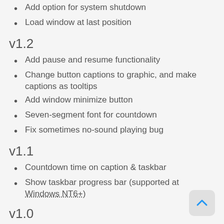Add option for system shutdown
Load window at last position
v1.2
Add pause and resume functionality
Change button captions to graphic, and make captions as tooltips
Add window minimize button
Seven-segment font for countdown
Fix sometimes no-sound playing bug
v1.1
Countdown time on caption & taskbar
Show taskbar progress bar (supported at Windows NT6+)
v1.0
Initial release